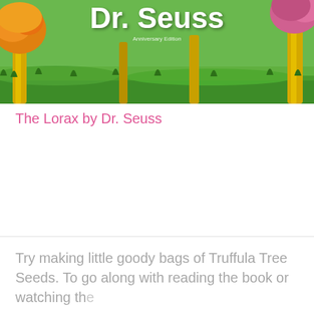[Figure (illustration): Book cover of The Lorax by Dr. Seuss showing colorful cartoon illustration with green background, Truffula trees with yellow trunks, orange puff tops, and 'Dr. Seuss' written in large white bold text at the top with a small subtitle line beneath it.]
The Lorax by Dr. Seuss
Try making little goody bags of Truffula Tree Seeds. To go along with reading the book or watching the...